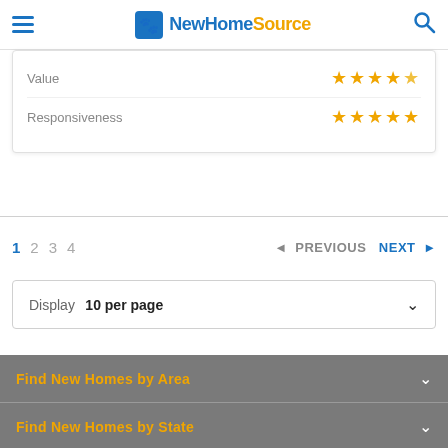NewHomeSource
Value ★★★★☆
Responsiveness ★★★★★
1 2 3 4  ◄ PREVIOUS  NEXT ►
Display 10 per page
Find New Homes by Area
Find New Homes by State
Quick Links